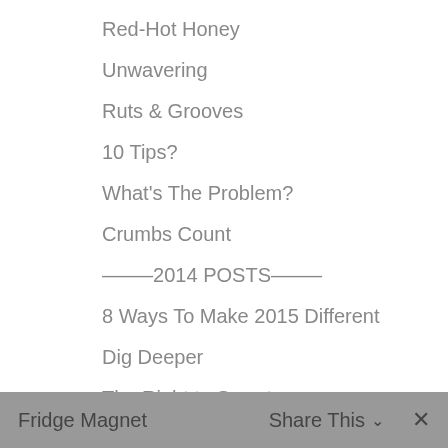Red-Hot Honey
Unwavering
Ruts & Grooves
10 Tips?
What's The Problem?
Crumbs Count
——–2014 POSTS——–
8 Ways To Make 2015 Different
Dig Deeper
The Right to Sweat
Ignored
Fridge Magnet   Share This  ∨   ✕